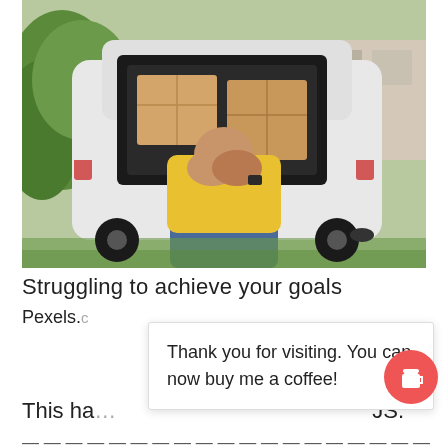[Figure (photo): A man in a yellow t-shirt sitting in front of an open car trunk filled with cardboard boxes, holding his face in his hands in a stressed or upset posture. Outdoors with green plants visible on the left.]
Struggling to achieve your goals
Pexels.
Thank you for visiting. You can now buy me a coffee!
This ha
JS.